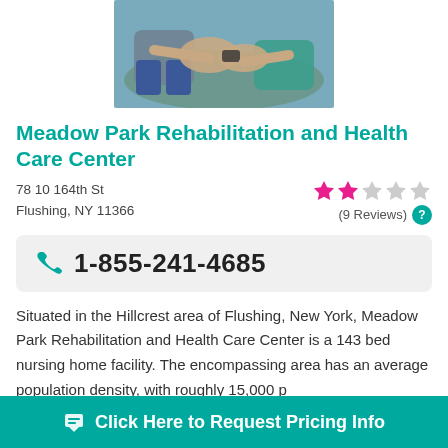[Figure (photo): Photo of a person helping another person with medication, viewed from above]
Meadow Park Rehabilitation and Health Care Center
78 10 164th St
Flushing, NY 11366
(9 Reviews)
1-855-241-4685
Situated in the Hillcrest area of Flushing, New York, Meadow Park Rehabilitation and Health Care Center is a 143 bed nursing home facility. The encompassing area has an average population density, with roughly 15,000 p...
Click Here to Request Pricing Info